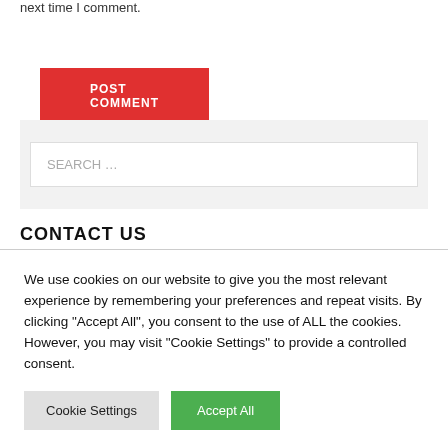next time I comment.
POST COMMENT
SEARCH …
CONTACT US
We use cookies on our website to give you the most relevant experience by remembering your preferences and repeat visits. By clicking "Accept All", you consent to the use of ALL the cookies. However, you may visit "Cookie Settings" to provide a controlled consent.
Cookie Settings
Accept All